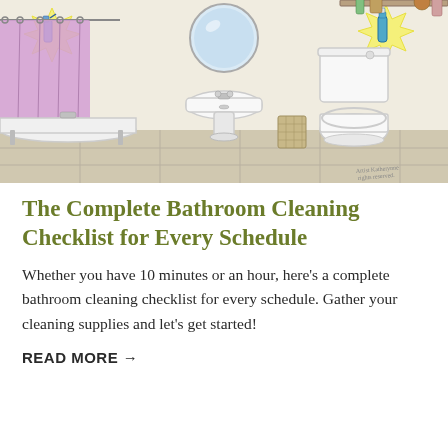[Figure (illustration): A cartoon-style illustration of a bathroom scene showing a bathtub with purple shower curtain, a pedestal sink, and a toilet. Cleaning products are highlighted with yellow starburst shapes near the shower area and near the toilet. A wastebasket is visible between the sink and toilet. Artist signature visible in lower right corner.]
The Complete Bathroom Cleaning Checklist for Every Schedule
Whether you have 10 minutes or an hour, here's a complete bathroom cleaning checklist for every schedule. Gather your cleaning supplies and let's get started!
READ MORE →